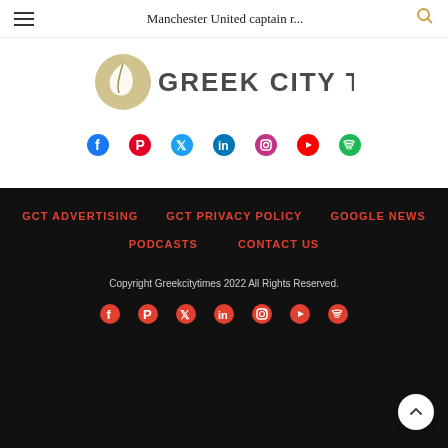Manchester United captain r...
[Figure (logo): Greek City Times logo with leaf emblem and bold text]
[Figure (infographic): Social media icons row: Facebook, Pinterest, Twitter, LinkedIn, Instagram, YouTube, Spotify]
GCT ADVERTISING | GCT PRIVACY POLICY | GOOGLE NEWS | PODCASTS | CONTACT US
Copyright Greekcitytimes 2022 All Rights Reserved.
[Figure (infographic): Footer social media icons: Facebook, Pinterest, Twitter, LinkedIn, Instagram, YouTube, Spotify]